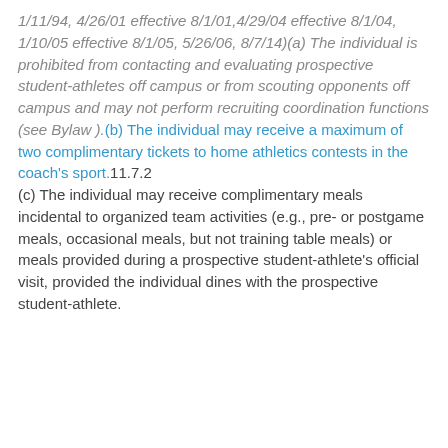1/11/94, 4/26/01 effective 8/1/01,4/29/04 effective 8/1/04, 1/10/05 effective 8/1/05, 5/26/06, 8/7/14)(a) The individual is prohibited from contacting and evaluating prospective student-athletes off campus or from scouting opponents off campus and may not perform recruiting coordination functions (see Bylaw ).(b) The individual may receive a maximum of two complimentary tickets to home athletics contests in the coach's sport.11.7.2 (c) The individual may receive complimentary meals incidental to organized team activities (e.g., pre- or postgame meals, occasional meals, but not training table meals) or meals provided during a prospective student-athlete's official visit, provided the individual dines with the prospective student-athlete.